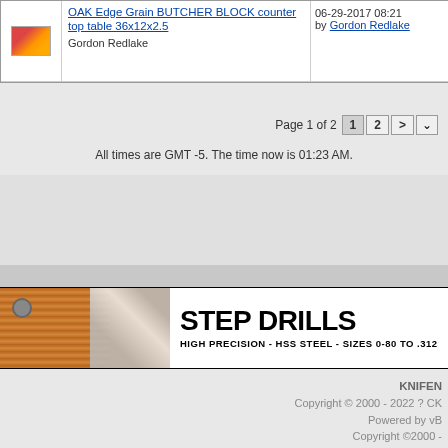|  | Title / Author | Last Post |
| --- | --- | --- |
| [icon] | OAK Edge Grain BUTCHER BLOCK counter top table 36x12x2.5
Gordon Redlake | 06-29-2017 08:21
by Gordon Redlake |
Page 1 of 2  1  2  >
All times are GMT -5. The time now is 01:23 AM.
[Figure (illustration): Advertisement banner for Step Drills showing wood block with drill bits and text: STEP DRILLS HIGH PRECISION - HSS STEEL - SIZES 0-80 TO .312]
KNIFEN
Copyright © 2000 - 2022 ? CK
Powered by vB
Copyright ©2000 -
The Knife Netw